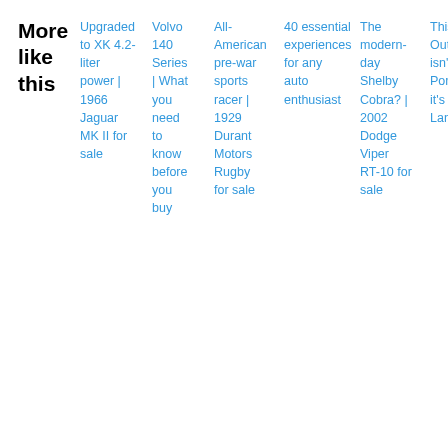More like this | Upgraded to XK 4.2-liter power | 1966 Jaguar MK II for sale | Volvo 140 Series | What you need to know before you buy | All-American pre-war sports racer | 1929 Durant Motors Rugby for sale | 40 essential experiences for any auto enthusiast | The modern-day Shelby Cobra? | 2002 Dodge Viper RT-10 for sale | This Outlaw isn't a Porsche it's a Lancia